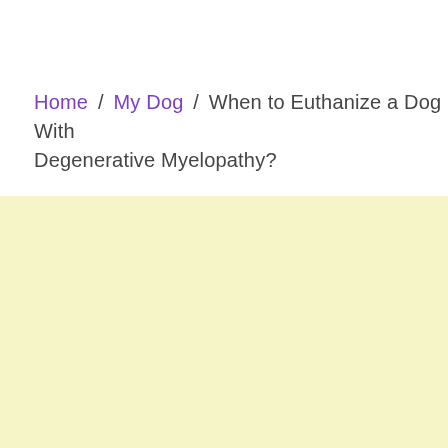Home / My Dog / When to Euthanize a Dog With Degenerative Myelopathy?